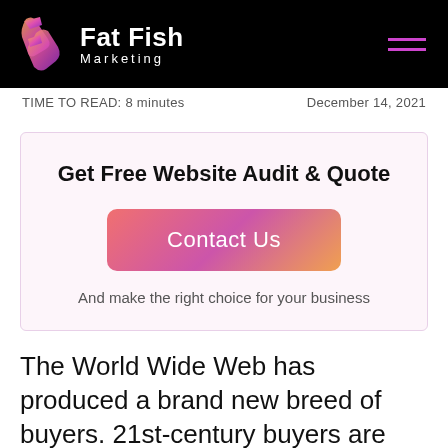Fat Fish Marketing
TIME TO READ: 8 minutes   December 14, 2021
Get Free Website Audit & Quote
Contact Us
And make the right choice for your business
The World Wide Web has produced a brand new breed of buyers. 21st-century buyers are